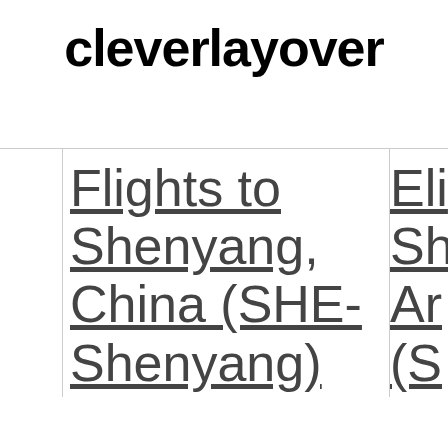cleverlayover
Flights to Shenyang, China (SHE-Shenyang)
Flights to Nanki...